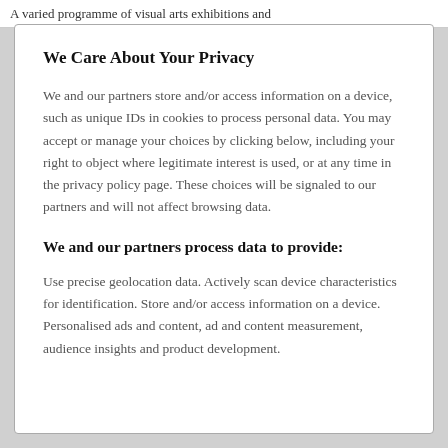A varied programme of visual arts exhibitions and
We Care About Your Privacy
We and our partners store and/or access information on a device, such as unique IDs in cookies to process personal data. You may accept or manage your choices by clicking below, including your right to object where legitimate interest is used, or at any time in the privacy policy page. These choices will be signaled to our partners and will not affect browsing data.
We and our partners process data to provide:
Use precise geolocation data. Actively scan device characteristics for identification. Store and/or access information on a device. Personalised ads and content, ad and content measurement, audience insights and product development.